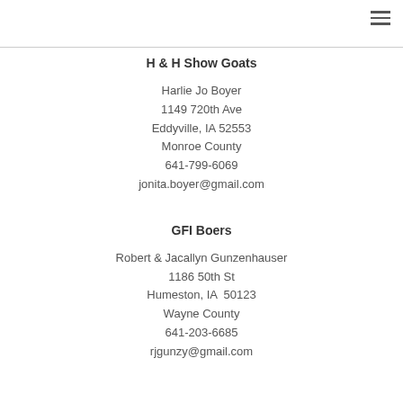H & H Show Goats
Harlie Jo Boyer
1149 720th Ave
Eddyville, IA 52553
Monroe County
641-799-6069
jonita.boyer@gmail.com
GFI Boers
Robert & Jacallyn Gunzenhauser
1186 50th St
Humeston, IA  50123
Wayne County
641-203-6685
rjgunzy@gmail.com